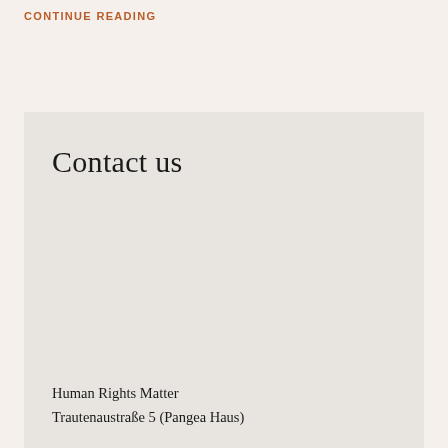CONTINUE READING
Contact us
Human Rights Matter
Trautenaustraße 5 (Pangea Haus)